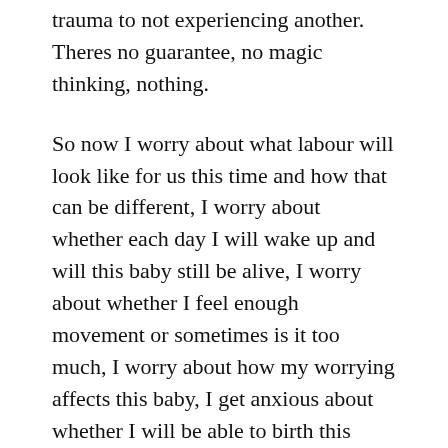trauma to not experiencing another. Theres no guarantee, no magic thinking, nothing.
So now I worry about what labour will look like for us this time and how that can be different, I worry about whether each day I will wake up and will this baby still be alive, I worry about whether I feel enough movement or sometimes is it too much, I worry about how my worrying affects this baby, I get anxious about whether I will be able to birth this baby with all the emotions and flashbacks from your birth.
I tell myself different baby, different experience and the medical team we have around us this time I do have a lot of trust in, but ‘what if’. Then Henry there is lots of really other ways of thinking this...